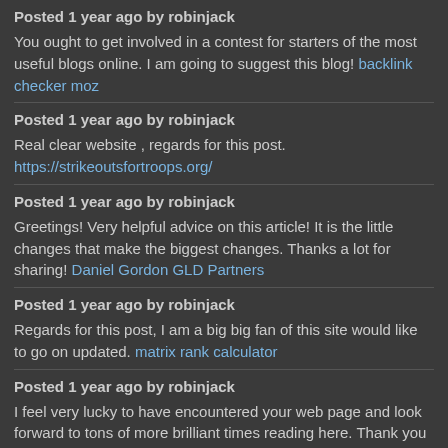Posted 1 year ago by robinjack
You ought to get involved in a contest for starters of the most useful blogs online. I am going to suggest this blog! backlink checker moz
Posted 1 year ago by robinjack
Real clear website , regards for this post. https://strikeoutsfortroops.org/
Posted 1 year ago by robinjack
Greetings! Very helpful advice on this article! It is the little changes that make the biggest changes. Thanks a lot for sharing! Daniel Gordon GLD Partners
Posted 1 year ago by robinjack
Regards for this post, I am a big big fan of this site would like to go on updated. matrix rank calculator
Posted 1 year ago by robinjack
I feel very lucky to have encountered your web page and look forward to tons of more brilliant times reading here. Thank you again for all the details. à¸ªà¸¡à¸±à¸„à¸£à¸ªà¸¥à¹‡à¸à¸•à¸•à¸•
Posted 1 year ago by robinjack